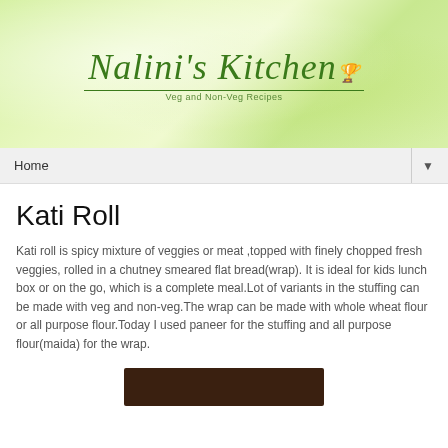[Figure (logo): Nalini's Kitchen logo with cursive green text on light green watercolor background, subtitle 'Veg and Non-Veg Recipes']
Home ▼
Kati Roll
Kati roll is spicy mixture of veggies or meat ,topped with finely chopped fresh veggies, rolled in a chutney smeared flat bread(wrap). It is ideal for kids lunch box or on the go, which is a complete meal.Lot of variants in the stuffing can be made with veg and non-veg.The wrap can be made with whole wheat flour or all purpose flour.Today I used paneer for the stuffing and all purpose flour(maida) for the wrap.
[Figure (photo): Photo of Kati Roll food item, partially visible at bottom of page]